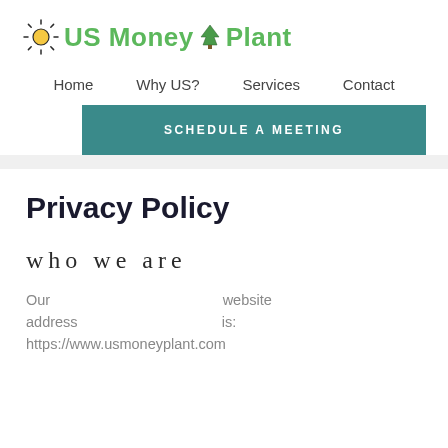[Figure (logo): US Money Plant logo with sun icon and tree icon, green text]
Home   Why US?   Services   Contact
SCHEDULE A MEETING
Privacy Policy
who we are
Our website address is: https://www.usmoneyplant.com